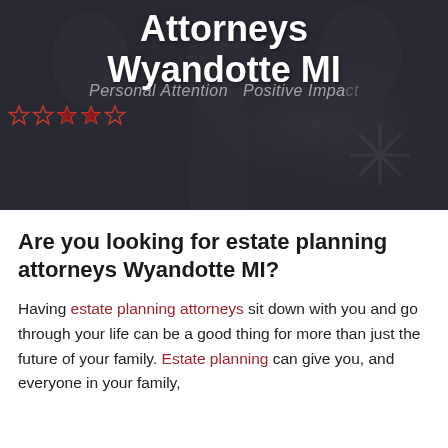[Figure (photo): Dark-toned hero banner with blurred photo of attorneys in background, overlaid with large white bold text reading 'Attorneys Wyandotte MI', star rating icons on left, and italic watermark text 'Personal Attention Positive Impact']
Are you looking for estate planning attorneys Wyandotte MI?
Having estate planning attorneys sit down with you and go through your life can be a good thing for more than just the future of your family. Estate planning can give you, and everyone in your family,